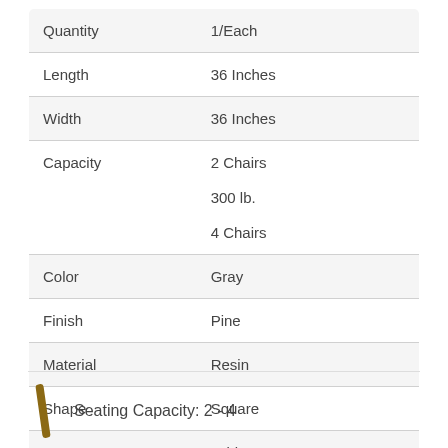|  |  |
| --- | --- |
| Quantity | 1/Each |
| Length | 36 Inches |
| Width | 36 Inches |
| Capacity | 2 Chairs
300 lb.
4 Chairs |
| Color | Gray |
| Finish | Pine |
| Material | Resin |
| Shape | Square |
| Type | Table Tops |
| Usage | Indoor |
Seating Capacity: 2 - 4